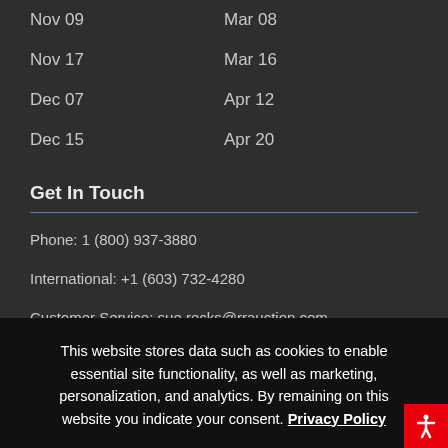Nov 09    Mar 08
Nov 17    Mar 16
Dec 07    Apr 12
Dec 15    Apr 20
Get In Touch
Phone: 1 (800) 937-3880
International: +1 (603) 732-4280
Customer Service: sue.recks@rrauction.com
This website stores data such as cookies to enable essential site functionality, as well as marketing, personalization, and analytics. By remaining on this website you indicate your consent. Privacy Policy